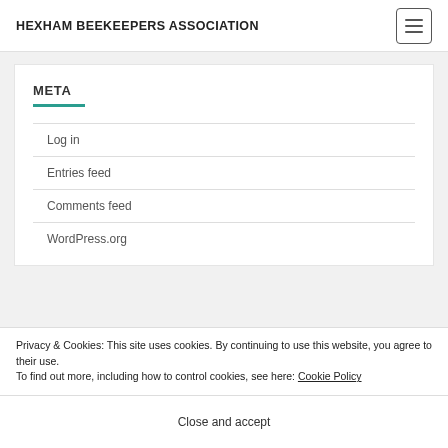HEXHAM BEEKEEPERS ASSOCIATION
META
Log in
Entries feed
Comments feed
WordPress.org
Privacy & Cookies: This site uses cookies. By continuing to use this website, you agree to their use.
To find out more, including how to control cookies, see here: Cookie Policy
Close and accept